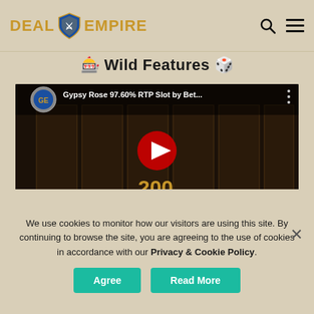DEAL EMPIRE
🎰 Wild Features 🎲
[Figure (screenshot): YouTube video thumbnail for 'Gypsy Rose 97.60% RTP Slot by Bet...' showing a dark slot machine game with a play button overlay and score of 200]
We use cookies to monitor how our visitors are using this site. By continuing to browse the site, you are agreeing to the use of cookies in accordance with our Privacy & Cookie Policy.